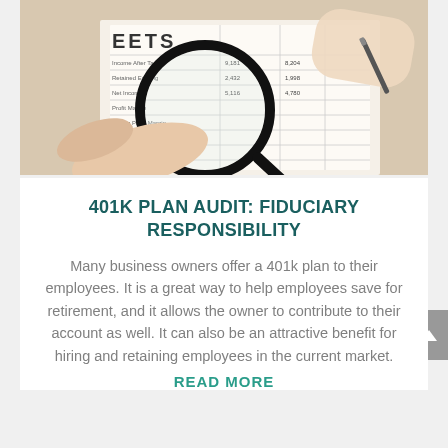[Figure (photo): Person's hands holding a magnifying glass over financial spreadsheets/balance sheets on a desk. The word 'EETS' (part of 'SHEETS') is visible on the document. A pen is also visible.]
401K PLAN AUDIT: FIDUCIARY RESPONSIBILITY
Many business owners offer a 401k plan to their employees. It is a great way to help employees save for retirement, and it allows the owner to contribute to their account as well. It can also be an attractive benefit for hiring and retaining employees in the current market.
READ MORE